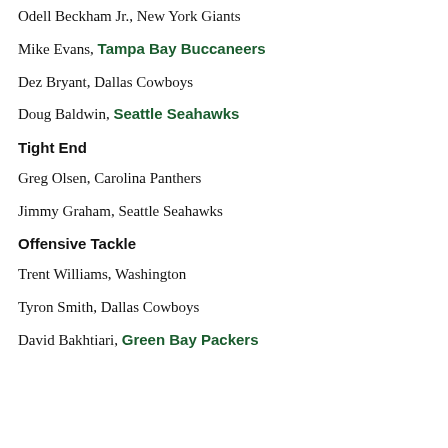Odell Beckham Jr., New York Giants
Mike Evans, Tampa Bay Buccaneers
Dez Bryant, Dallas Cowboys
Doug Baldwin, Seattle Seahawks
Tight End
Greg Olsen, Carolina Panthers
Jimmy Graham, Seattle Seahawks
Offensive Tackle
Trent Williams, Washington
Tyron Smith, Dallas Cowboys
David Bakhtiari, Green Bay Packers